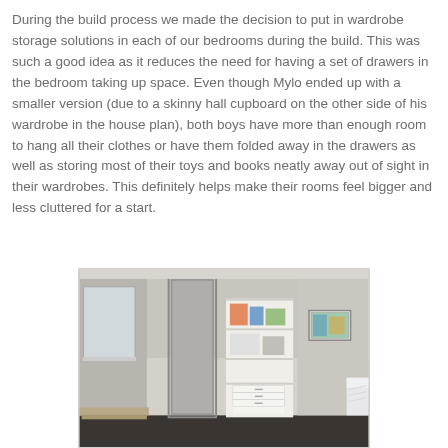During the build process we made the decision to put in wardrobe storage solutions in each of our bedrooms during the build. This was such a good idea as it reduces the need for having a set of drawers in the bedroom taking up space. Even though Mylo ended up with a smaller version (due to a skinny hall cupboard on the other side of his wardrobe in the house plan), both boys have more than enough room to hang all their clothes or have them folded away in the drawers as well as storing most of their toys and books neatly away out of sight in their wardrobes. This definitely helps make their rooms feel bigger and less cluttered for a start.
[Figure (photo): Interior photo of a bedroom showing wardrobe storage with open shelving containing items, a door to adjacent room or cupboard, a framed picture on the wall, and a bed partially visible on the right. The room has grey/beige walls and dark floor.]